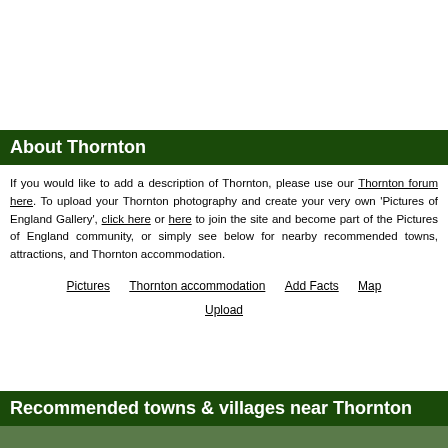About Thornton
If you would like to add a description of Thornton, please use our Thornton forum here. To upload your Thornton photography and create your very own 'Pictures of England Gallery', click here or here to join the site and become part of the Pictures of England community, or simply see below for nearby recommended towns, attractions, and Thornton accommodation.
Pictures    Thornton accommodation    Add Facts    Map    Upload
Recommended towns & villages near Thornton